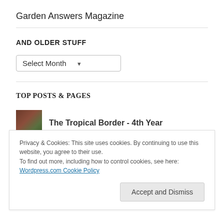Garden Answers Magazine
AND OLDER STUFF
Select Month
TOP POSTS & PAGES
The Tropical Border - 4th Year
Privacy & Cookies: This site uses cookies. By continuing to use this website, you agree to their use.
To find out more, including how to control cookies, see here:
Wordpress.com Cookie Policy
Accept and Dismiss